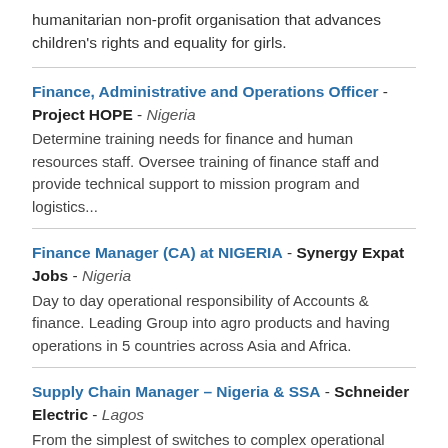Plan International is an independent development and humanitarian non-profit organisation that advances children's rights and equality for girls.
Finance, Administrative and Operations Officer - Project HOPE - Nigeria
Determine training needs for finance and human resources staff. Oversee training of finance staff and provide technical support to mission program and logistics...
Finance Manager (CA) at NIGERIA - Synergy Expat Jobs - Nigeria
Day to day operational responsibility of Accounts & finance. Leading Group into agro products and having operations in 5 countries across Asia and Africa.
Supply Chain Manager – Nigeria & SSA - Schneider Electric - Lagos
From the simplest of switches to complex operational systems, our technology, software and services improve the way our